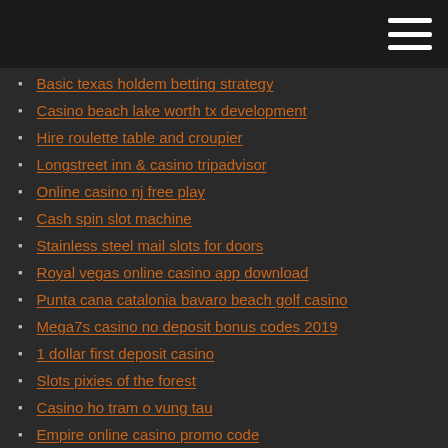Basic texas holdem betting strategy
Casino beach lake worth tx development
Hire roulette table and croupier
Longstreet inn & casino tripadvisor
Online casino nj free play
Cash spin slot machine
Stainless steel mail slots for doors
Royal vegas online casino app download
Punta cana catalonia bavaro beach golf casino
Mega7s casino no deposit bonus codes 2019
1 dollar first deposit casino
Slots pixies of the forest
Casino ho tram o vung tau
Empire online casino promo code